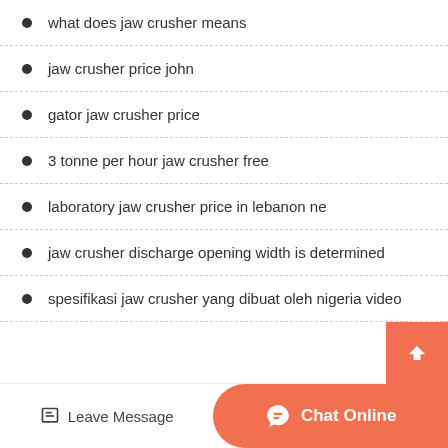what does jaw crusher means
jaw crusher price john
gator jaw crusher price
3 tonne per hour jaw crusher free
laboratory jaw crusher price in lebanon ne
jaw crusher discharge opening width is determined
spesifikasi jaw crusher yang dibuat oleh nigeria video
Leave Message   Chat Online